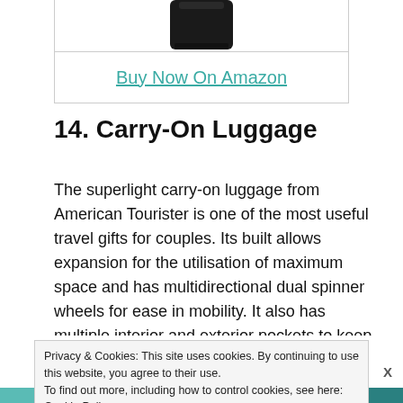[Figure (photo): Bottom portion of a black carry-on luggage product image against white background]
Buy Now On Amazon
14. Carry-On Luggage
The superlight carry-on luggage from American Tourister is one of the most useful travel gifts for couples. Its built allows expansion for the utilisation of maximum space and has multidirectional dual spinner wheels for ease in mobility. It also has multiple interior and exterior pockets to keep all
Privacy & Cookies: This site uses cookies. By continuing to use this website, you agree to their use.
To find out more, including how to control cookies, see here: Cookie Policy
[Figure (advertisement): SHE Media Partner Network ad banner: Earning site & social revenue, Traffic growth, LEARN MORE button]